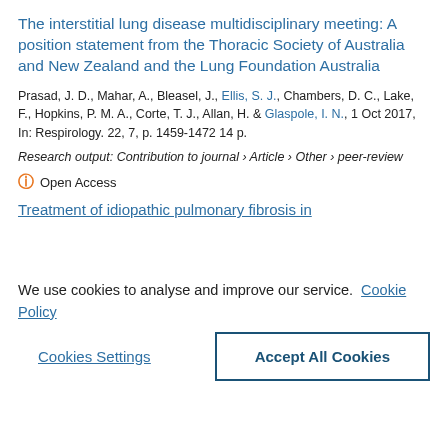The interstitial lung disease multidisciplinary meeting: A position statement from the Thoracic Society of Australia and New Zealand and the Lung Foundation Australia
Prasad, J. D., Mahar, A., Bleasel, J., Ellis, S. J., Chambers, D. C., Lake, F., Hopkins, P. M. A., Corte, T. J., Allan, H. & Glaspole, I. N., 1 Oct 2017, In: Respirology. 22, 7, p. 1459-1472 14 p.
Research output: Contribution to journal › Article › Other › peer-review
Open Access
Treatment of idiopathic pulmonary fibrosis in
We use cookies to analyse and improve our service. Cookie Policy
Cookies Settings
Accept All Cookies